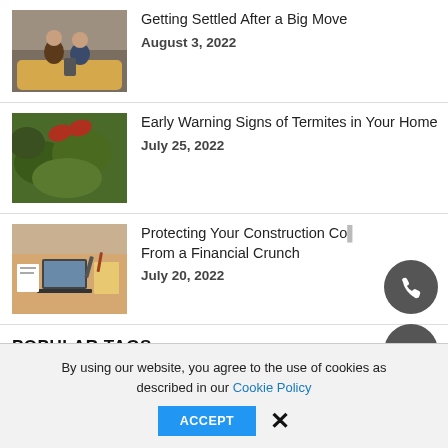[Figure (photo): Two people sitting together, looking at a phone or book]
Getting Settled After a Big Move
August 3, 2022
[Figure (photo): Close-up of green foliage with red shoes visible]
Early Warning Signs of Termites in Your Home
July 25, 2022
[Figure (photo): Overhead view of a desk with laptop, papers, and tools]
Protecting Your Construction Co... From a Financial Crunch
July 20, 2022
POPULAR TAGS
By using our website, you agree to the use of cookies as described in our Cookie Policy